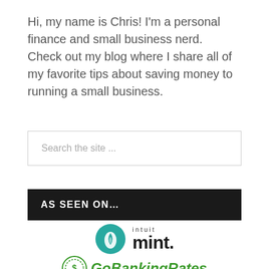Hi, my name is Chris! I'm a personal finance and small business nerd.  Check out my blog where I share all of my favorite tips about saving money to running a small business.
Search the site ...
AS SEEN ON…
[Figure (logo): Intuit Mint logo — teal circle with leaf/drop icon and 'intuit mint.' text]
[Figure (logo): GoBankingRates logo — green circular badge with dollar sign and italic bold green text 'GoBankingRates']
[Figure (logo): CreditCards.com logo — blue diagonal card icon with 'CreditCards.com' text]